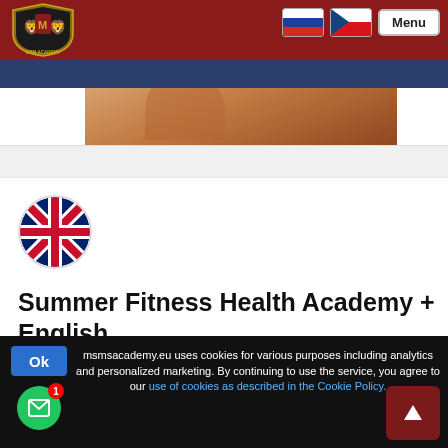[Figure (logo): MSM Academy logo with shield and lions, gold on dark red background]
[Figure (photo): Hero image showing partial fitness/sports activity photo]
[Figure (illustration): UK flag (Union Jack) in circular crop]
Summer Fitness Health Academy + English
msmsacademy.eu uses cookies for various purposes including analytics and personalized marketing. By continuing to use the service, you agree to our use of cookies as described in the Cookie Policy.